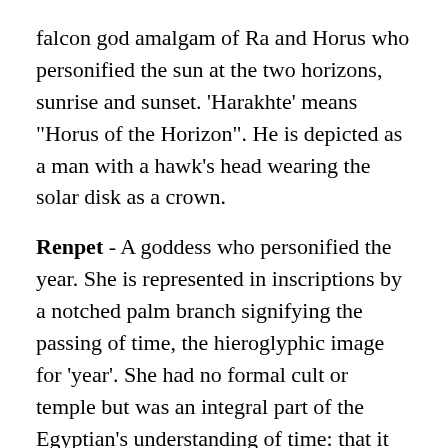falcon god amalgam of Ra and Horus who personified the sun at the two horizons, sunrise and sunset. 'Harakhte' means "Horus of the Horizon". He is depicted as a man with a hawk's head wearing the solar disk as a crown.
Renpet - A goddess who personified the year. She is represented in inscriptions by a notched palm branch signifying the passing of time, the hieroglyphic image for 'year'. She had no formal cult or temple but was an integral part of the Egyptian's understanding of time: that it was imbued, like everything else, with personality and vitality.
Renenutet (Renenet or Ernutet) - A very important goddess depicted as a cobra or a rearing cobra with the head of a woman. Her...